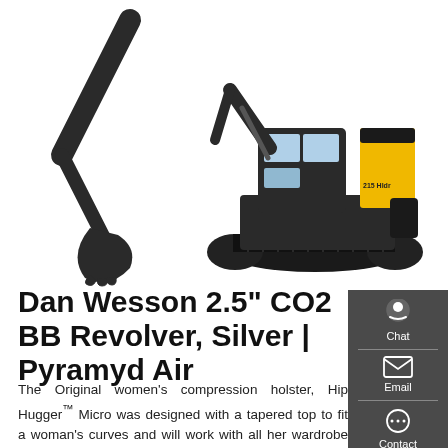[Figure (photo): Yellow and black excavator (crawler) with its boom arm extended to the left, on white background. Model markings visible on cab. Two views: left side shows the bucket/arm, right side shows full machine.]
Dan Wesson 2.5" CO2 BB Revolver, Silver | Pyramyd Air
The Original women's compression holster, Hip Hugger™ Micro was designed with a tapered top to fit a woman's curves and will work with all her wardrobe separates! The 4" wide holster supports small .380 cal and palm sized 22 cal. Holding four firearms, a magazine, a pocket knife and cell phone offers versatility!